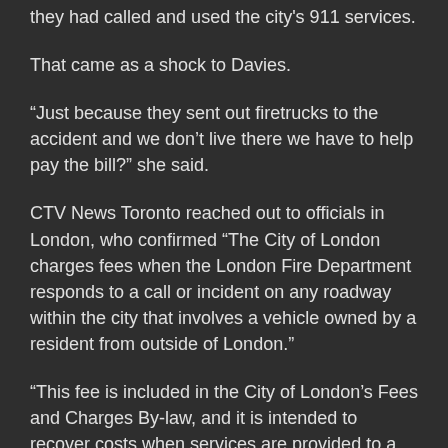they had called and used the city's 911 services.
That came as a shock to Davies.
“Just because they sent out firetrucks to the accident and we don’t live there we have to help pay the bill?” she said.
CTV News Toronto reached out to officials in London, who confirmed “The City of London charges fees when the London Fire Department responds to a call or incident on any roadway within the city that involves a vehicle owned by a resident from outside of London.”
“This fee is included in the City of London’s Fees and Charges By-law, and it is intended to recover costs when services are provided to a non-London resident,” the spokesperson said.
“This is common practice. Many municipalities in Ontario, including Toronto, have similar fees for non-residents when